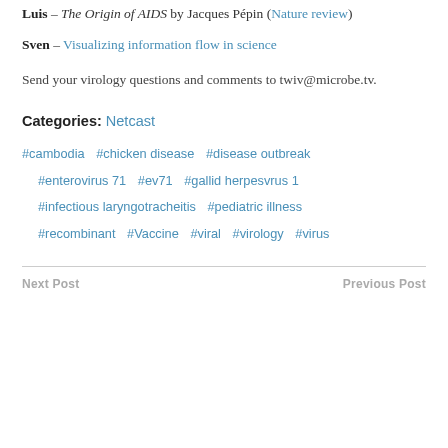Luis – The Origin of AIDS by Jacques Pépin (Nature review)
Sven – Visualizing information flow in science
Send your virology questions and comments to twiv@microbe.tv.
Categories: Netcast
#cambodia
#chicken disease
#disease outbreak
#enterovirus 71
#ev71
#gallid herpesvrus 1
#infectious laryngotracheitis
#pediatric illness
#recombinant
#Vaccine
#viral
#virology
#virus
Next Post    Previous Post